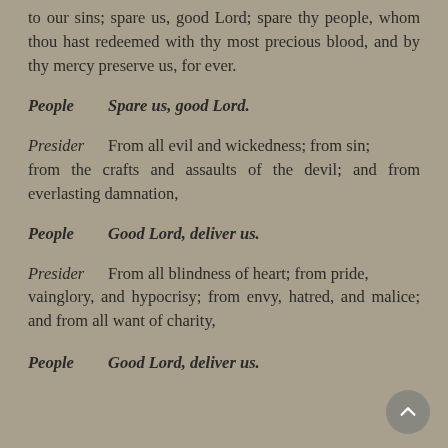to our sins; spare us, good Lord; spare thy people, whom thou hast redeemed with thy most precious blood, and by thy mercy preserve us, for ever.
People   Spare us, good Lord.
Presider   From all evil and wickedness; from sin; from the crafts and assaults of the devil; and from everlasting damnation,
People   Good Lord, deliver us.
Presider   From all blindness of heart; from pride, vainglory, and hypocrisy; from envy, hatred, and malice; and from all want of charity,
People   Good Lord, deliver us.